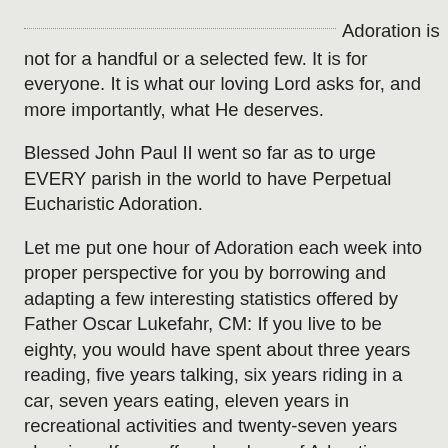Adoration is not for a handful or a selected few. It is for everyone. It is what our loving Lord asks for, and more importantly, what He deserves.
Blessed John Paul II went so far as to urge EVERY parish in the world to have Perpetual Eucharistic Adoration.
Let me put one hour of Adoration each week into proper perspective for you by borrowing and adapting a few interesting statistics offered by Father Oscar Lukefahr, CM: If you live to be eighty, you would have spent about three years reading, five years talking, six years riding in a car, seven years eating, eleven years in recreational activities and twenty-seven years sleeping.  If you offered an hour of Adoration each week, you would have given our Lord